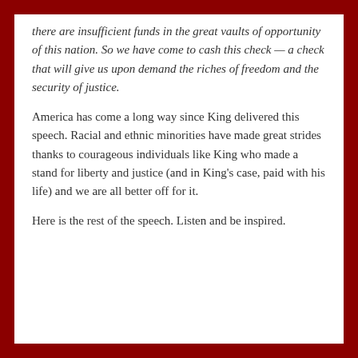there are insufficient funds in the great vaults of opportunity of this nation. So we have come to cash this check — a check that will give us upon demand the riches of freedom and the security of justice.
America has come a long way since King delivered this speech. Racial and ethnic minorities have made great strides thanks to courageous individuals like King who made a stand for liberty and justice (and in King's case, paid with his life) and we are all better off for it.
Here is the rest of the speech. Listen and be inspired.